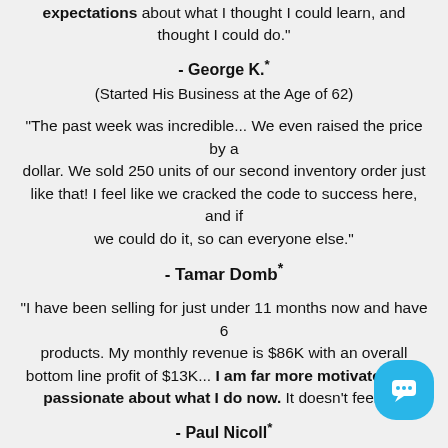expectations about what I thought I could learn, and thought I could do."
- George K.* (Started His Business at the Age of 62)
"The past week was incredible... We even raised the price by a dollar. We sold 250 units of our second inventory order just like that! I feel like we cracked the code to success here, and if we could do it, so can everyone else."
- Tamar Domb*
“I have been selling for just under 11 months now and have 6 products. My monthly revenue is $86K with an overall bottom line profit of $13K... I am far more motivated and passionate about what I do now. It doesn’t feel like
- Paul Nicoll*